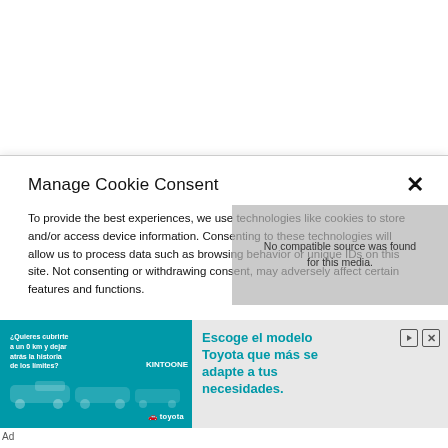Manage Cookie Consent
To provide the best experiences, we use technologies like cookies to store and/or access device information. Consenting to these technologies will allow us to process data such as browsing behavior or unique IDs on this site. Not consenting or withdrawing consent, may adversely affect certain features and functions.
[Figure (screenshot): Toyota Kinto One advertisement banner with teal background showing cars and Spanish text 'Escoge el modelo Toyota que más se adapte a tus necesidades.']
Ad
No compatible source was found for this media.